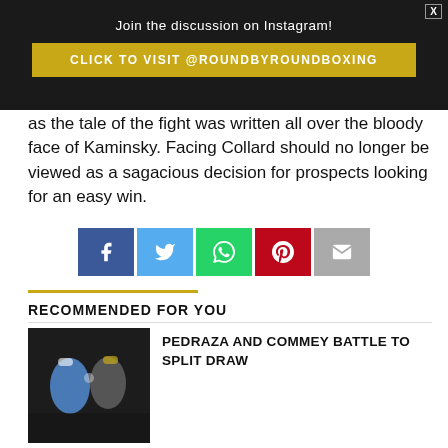Join the discussion on Instagram!
CLICK TO VISIT @ROUNDBYROUNDBOXING
as the tale of the fight was written all over the bloody face of Kaminsky. Facing Collard should no longer be viewed as a sagacious decision for prospects looking for an easy win.
[Figure (infographic): Social share buttons: Facebook, Twitter, WhatsApp, Pinterest, Email]
RECOMMENDED FOR YOU
[Figure (photo): Two boxers in a ring, one throwing a punch]
PEDRAZA AND COMMEY BATTLE TO SPLIT DRAW
[Figure (photo): Pedraza vs Commey promotional poster]
JOSE PEDRAZA VS. RICHARD COMMEY PICKUP PROPS & BETTING ODDS
[Figure (photo): Keyshawn Davis fight promotional image]
KEYSHAWN DAVIS FACES OMAR